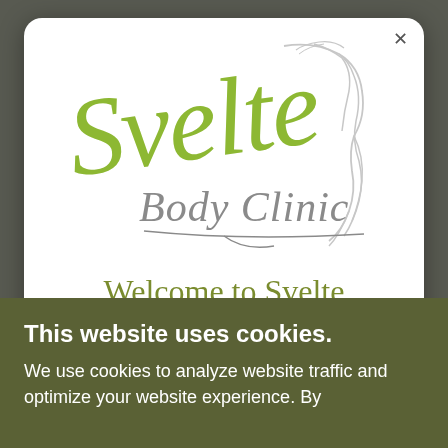[Figure (logo): Svelte Body Clinic logo — green cursive 'Svelte' text with gray script 'Body Clinic' below, and a gray line-art silhouette of a woman's torso on the right side]
Welcome to Svelte Body Clinic
This website uses cookies.
We use cookies to analyze website traffic and optimize your website experience. By